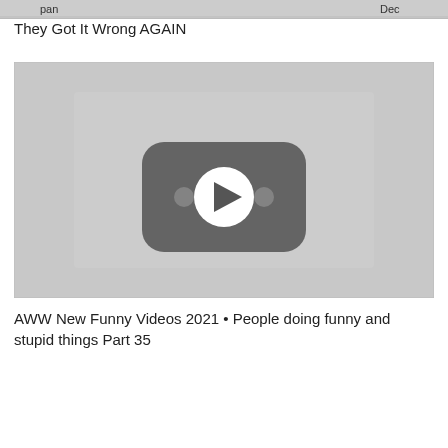[Figure (screenshot): Top strip showing partial video thumbnail with partial text 'pan', 'Dec' visible]
They Got It Wrong AGAIN
[Figure (screenshot): YouTube video thumbnail placeholder — gray background with a rounded-rectangle play button icon in the center (dark gray rounded rect with white circle play arrow and two small circles on sides)]
AWW New Funny Videos 2021 • People doing funny and stupid things Part 35